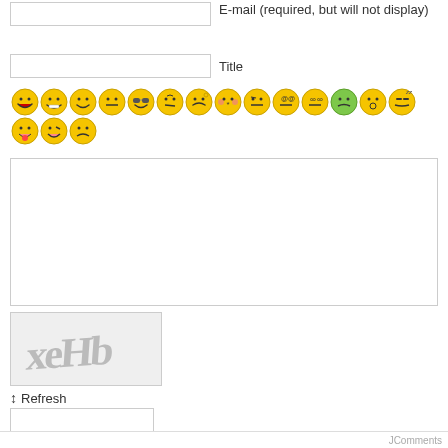E-mail (required, but will not display)
Title
[Figure (other): Row of emoji smiley face icons for comment input]
[Figure (other): CAPTCHA image showing distorted text 'xeHb']
↕ Refresh
Send
JComments